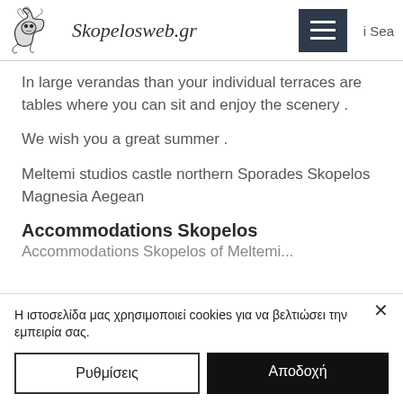Skopelosweb.gr | Sea
In large verandas than your individual terraces are tables where you can sit and enjoy the scenery .
We wish you a great summer .
Meltemi studios castle northern Sporades Skopelos Magnesia Aegean
Accommodations Skopelos
Η ιστοσελίδα μας χρησιμοποιεί cookies για να βελτιώσει την εμπειρία σας.
Ρυθμίσεις | Αποδοχή